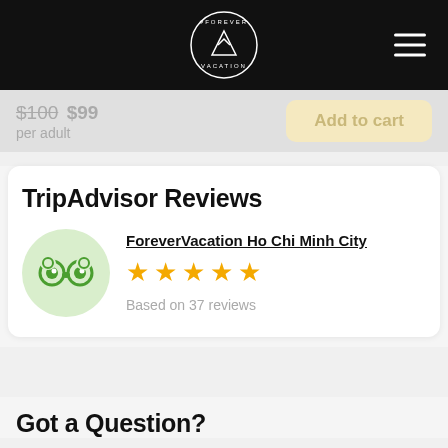[Figure (logo): ForeverVacation logo — white circular badge with triangle/arrow icon on black header bar]
$100 $99 per adult
Add to cart
TripAdvisor Reviews
[Figure (logo): TripAdvisor owl logo in green circle]
ForeverVacation Ho Chi Minh City
★★★★★
Based on 37 reviews
Got a Question?